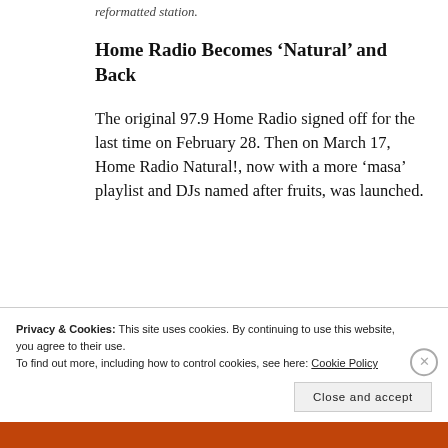reformatted station.
Home Radio Becomes ‘Natural’ and Back
The original 97.9 Home Radio signed off for the last time on February 28. Then on March 17, Home Radio Natural!, now with a more ‘masa’ playlist and DJs named after fruits, was launched.
Privacy & Cookies: This site uses cookies. By continuing to use this website, you agree to their use.
To find out more, including how to control cookies, see here: Cookie Policy
Close and accept